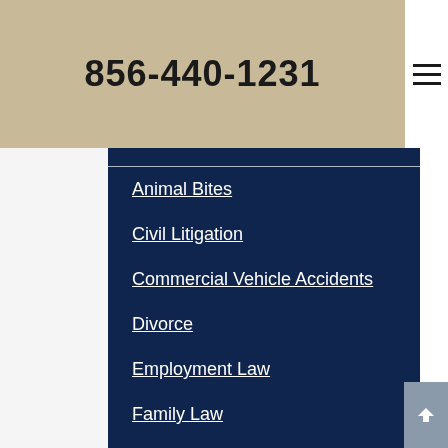856-440-1231
Animal Bites
Civil Litigation
Commercial Vehicle Accidents
Divorce
Employment Law
Family Law
Firm News
Motor Vehicle Accidents